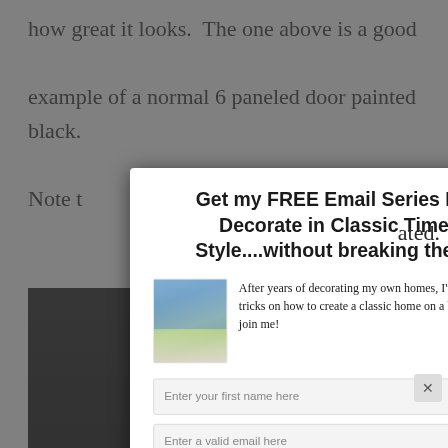how great it looks.  The one above is a good example of a normal 6 paneled door painted black. Note t[hat the...]ated.
[Figure (screenshot): Background webpage showing text about painted doors with a dark door image, overlaid by an email subscription modal popup]
Get my FREE Email Series How to Decorate in Classic Timeless Style....without breaking the bank!
After years of decorating my own homes, I've learned a few tricks on how to create a classic home on a budget. Hope you'll join me!
Enter your first name here
Enter a valid email here
SUBSCRIBE
Your information will *never* be shared or sold to a 3rd party.